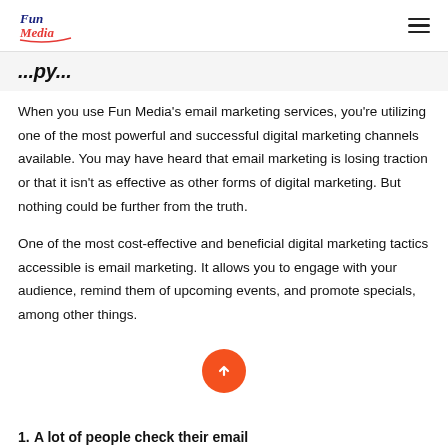Fun Media [logo] ☰
...py...
When you use Fun Media's email marketing services, you're utilizing one of the most powerful and successful digital marketing channels available. You may have heard that email marketing is losing traction or that it isn't as effective as other forms of digital marketing. But nothing could be further from the truth.
One of the most cost-effective and beneficial digital marketing tactics accessible is email marketing. It allows you to engage with your audience, remind them of upcoming events, and promote specials, among other things.
1. A lot of people check their email